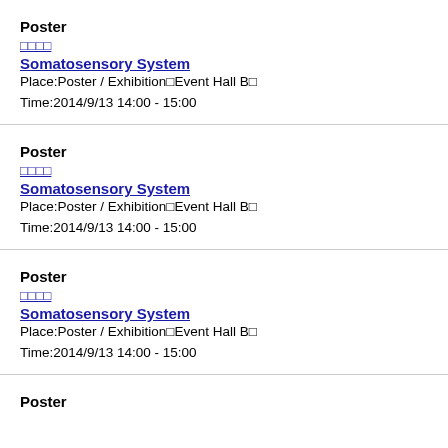Poster
□□□□
Somatosensory System
Place:Poster / Exhibition□Event Hall B□
Time:2014/9/13 14:00 - 15:00
Poster
□□□□
Somatosensory System
Place:Poster / Exhibition□Event Hall B□
Time:2014/9/13 14:00 - 15:00
Poster
□□□□
Somatosensory System
Place:Poster / Exhibition□Event Hall B□
Time:2014/9/13 14:00 - 15:00
Poster